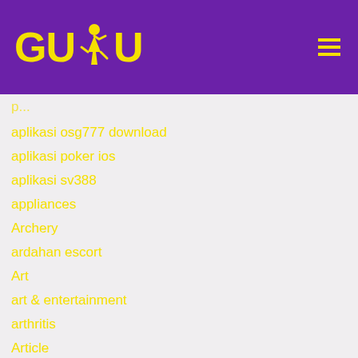[Figure (logo): GUDU logo with yellow text and runner silhouette on purple background, with hamburger menu icon on right]
aplikasi osg777 download
aplikasi poker ios
aplikasi sv388
appliances
Archery
ardahan escort
Art
art & entertainment
arthritis
Article
Article Marketing
artificial grass
[Figure (other): Language selector widget showing UK flag and 'English' text with dropdown chevron]